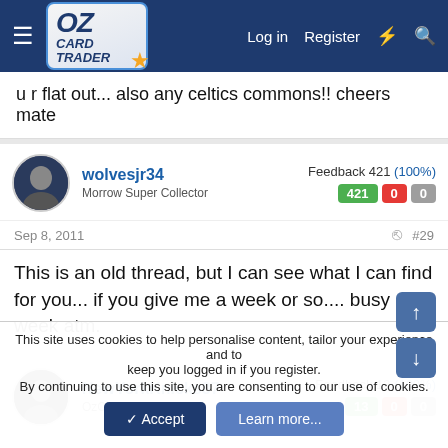OzCardTrader — Log in  Register
u r flat out... also any celtics commons!! cheers mate
wolvesjr34
Morrow Super Collector
Feedback 421 (100%)
421  0  0
Sep 8, 2011  #29
This is an old thread, but I can see what I can find for you... if you give me a week or so.... busy week atm.
NewYorkKnicks87
OzCardTrader
Feedback 13 (100%)
13  0  0
This site uses cookies to help personalise content, tailor your experience and to keep you logged in if you register.
By continuing to use this site, you are consenting to our use of cookies.